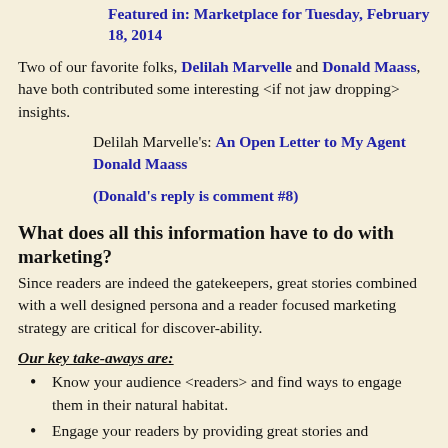Featured in: Marketplace for Tuesday, February 18, 2014
Two of our favorite folks, Delilah Marvelle and Donald Maass, have both contributed some interesting <if not jaw dropping> insights.
Delilah Marvelle's: An Open Letter to My Agent Donald Maass
(Donald's reply is comment #8)
What does all this information have to do with marketing?
Since readers are indeed the gatekeepers, great stories combined with a well designed persona and a reader focused marketing strategy are critical for discover-ability.
Our key take-aways are:
Know your audience <readers> and find ways to engage them in their natural habitat.
Engage your readers by providing great stories and